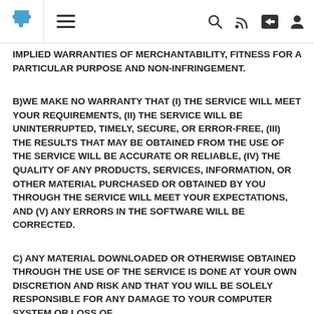Navigation bar with puzzle logo, menu, search, RSS, share, and user icons
IMPLIED WARRANTIES OF MERCHANTABILITY, FITNESS FOR A PARTICULAR PURPOSE AND NON-INFRINGEMENT.
b)WE MAKE NO WARRANTY THAT (i) THE SERVICE WILL MEET YOUR REQUIREMENTS, (ii) THE SERVICE WILL BE UNINTERRUPTED, TIMELY, SECURE, OR ERROR-FREE, (iii) THE RESULTS THAT MAY BE OBTAINED FROM THE USE OF THE SERVICE WILL BE ACCURATE OR RELIABLE, (iv) THE QUALITY OF ANY PRODUCTS, SERVICES, INFORMATION, OR OTHER MATERIAL PURCHASED OR OBTAINED BY YOU THROUGH THE SERVICE WILL MEET YOUR EXPECTATIONS, AND (V) ANY ERRORS IN THE SOFTWARE WILL BE CORRECTED.
c) ANY MATERIAL DOWNLOADED OR OTHERWISE OBTAINED THROUGH THE USE OF THE SERVICE IS DONE AT YOUR OWN DISCRETION AND RISK AND THAT YOU WILL BE SOLELY RESPONSIBLE FOR ANY DAMAGE TO YOUR COMPUTER SYSTEM OR LOSS OF